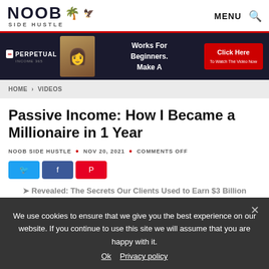NOOB SIDE HUSTLE — MENU
[Figure (infographic): Perpetual Income advertisement banner with woman holding cash, red Click Here button]
HOME > VIDEOS
Passive Income: How I Became a Millionaire in 1 Year
NOOB SIDE HUSTLE • NOV 20, 2021 • COMMENTS OFF
We use cookies to ensure that we give you the best experience on our website. If you continue to use this site we will assume that you are happy with it.
Ok   Privacy policy
Revealed: The Secrets Our Clients Used to Earn $3 Billion